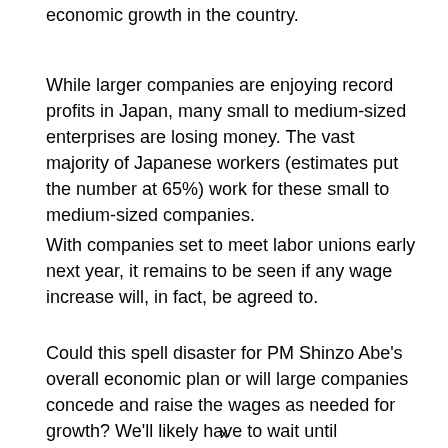economic growth in the country.
While larger companies are enjoying record profits in Japan, many small to medium-sized enterprises are losing money. The vast majority of Japanese workers (estimates put the number at 65%) work for these small to medium-sized companies.
With companies set to meet labor unions early next year, it remains to be seen if any wage increase will, in fact, be agreed to.
Could this spell disaster for PM Shinzo Abe's overall economic plan or will large companies concede and raise the wages as needed for growth? We'll likely have to wait until
x